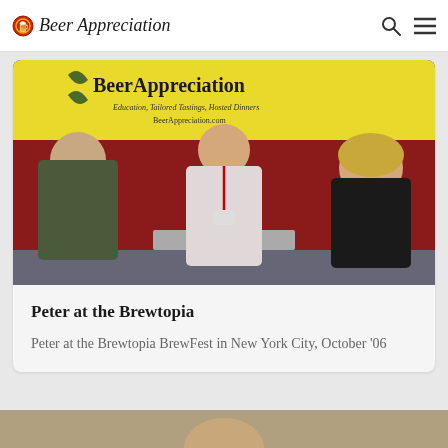Beer Appreciation
[Figure (photo): Peter standing at a Beer Appreciation LLC booth with a yellow banner, talking with two attendees at a brewfest event. Red curtain backdrop.]
Peter at the Brewtopia
Peter at the Brewtopia BrewFest in New York City, October '06
[Figure (photo): Bottom partial view of another photo below the card.]